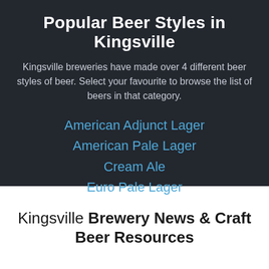Popular Beer Styles in Kingsville
Kingsville breweries have made over 4 different beer styles of beer. Select your favourite to browse the list of beers in that category.
American Adjunct Lager
American Pale Lager
Cream Ale
Euro Pale Lager
Kingsville Brewery News & Craft Beer Resources